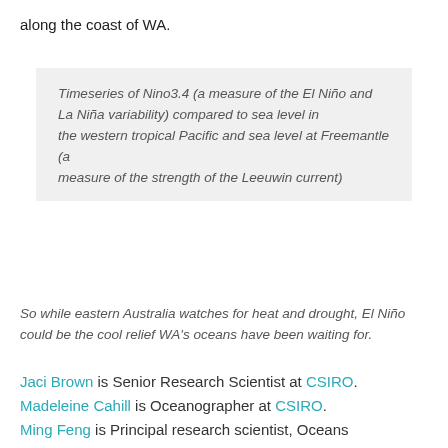along the coast of WA.
Timeseries of Nino3.4 (a measure of the El Niño and La Niña variability) compared to sea level in the western tropical Pacific and sea level at Freemantle (a measure of the strength of the Leeuwin current)
So while eastern Australia watches for heat and drought, El Niño could be the cool relief WA's oceans have been waiting for.
Jaci Brown is Senior Research Scientist at CSIRO. Madeleine Cahill is Oceanographer at CSIRO. Ming Feng is Principal research scientist, Oceans